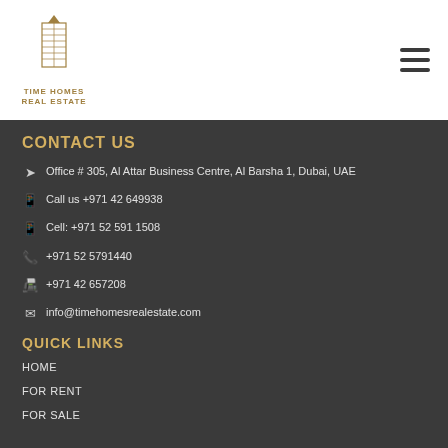TIME HOMES REAL ESTATE
CONTACT US
Office # 305, Al Attar Business Centre, Al Barsha 1, Dubai, UAE
Call us +971 42 649938
Cell: +971 52 591 1508
+971 52 5791440
+971 42 657208
info@timehomesrealestate.com
QUICK LINKS
HOME
FOR RENT
FOR SALE